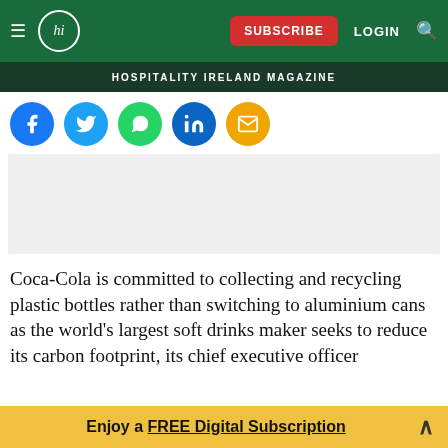HOSPITALITY IRELAND MAGAZINE
[Figure (infographic): Social sharing icons row: Facebook (blue), Twitter (light blue), WhatsApp (green), LinkedIn (blue), Email (orange)]
[Figure (other): Advertisement placeholder box (light grey)]
Coca-Cola is committed to collecting and recycling plastic bottles rather than switching to aluminium cans as the world's largest soft drinks maker seeks to reduce its carbon footprint, its chief executive officer
Enjoy a FREE Digital Subscription